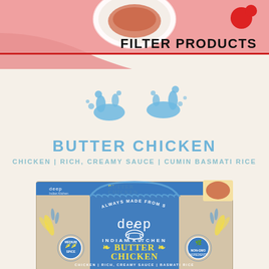[Figure (photo): Top portion of a food product page showing a plate of butter chicken at top, with a red blob accent element, pink/salmon background]
FILTER PRODUCTS
[Figure (illustration): Decorative blue water splash drops illustration]
BUTTER CHICKEN
CHICKEN | RICH, CREAMY SAUCE | CUMIN BASMATI RICE
[Figure (photo): Deep Indian Kitchen Butter Chicken frozen meal product box with blue arch design, decorative Indian motifs, yellow and blue text reading BUTTER CHICKEN, CHICKEN | RICH, CREAMY SAUCE | BASMATI RICE, ALWAYS MADE FROM SCRATCH badge, medium spice and non-GMO icons]